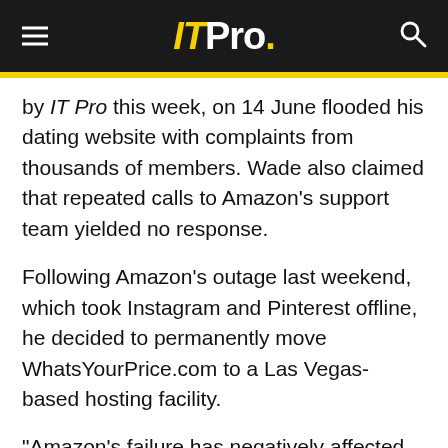IT Pro.
by IT Pro this week, on 14 June flooded his dating website with complaints from thousands of members. Wade also claimed that repeated calls to Amazon's support team yielded no response.
Following Amazon's outage last weekend, which took Instagram and Pinterest offline, he decided to permanently move WhatsYourPrice.com to a Las Vegas-based hosting facility.
"Amazon's failure has negatively affected our website's reputation as a reliable online dating destination," said Wade, who was previously an IT infrastructure executive at General Electric.